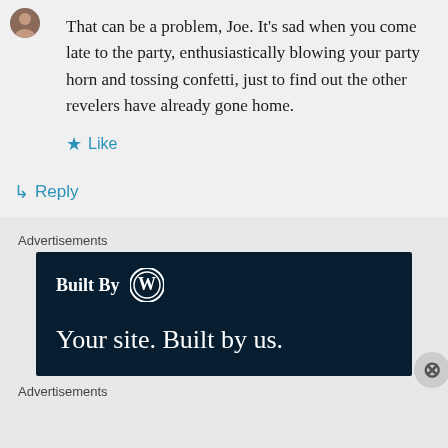[Figure (photo): Small circular avatar image of a user]
That can be a problem, Joe. It's sad when you come late to the party, enthusiastically blowing your party horn and tossing confetti, just to find out the other revelers have already gone home.
★ Like
↳ Reply
Advertisements
[Figure (illustration): WordPress advertisement banner with dark navy background. Text reads 'Built By' with WordPress logo, then 'Your site. Built by us.']
Advertisements